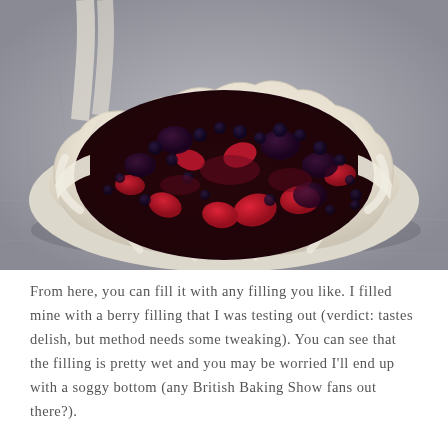[Figure (photo): A pie dish with unbaked pastry crust draped over the edges, filled with a mixed berry filling including strawberries, blueberries, and cherries in a dark purple sauce, placed on a marble surface.]
From here, you can fill it with any filling you like. I filled mine with a berry filling that I was testing out (verdict: tastes delish, but method needs some tweaking). You can see that the filling is pretty wet and you may be worried I'll end up with a soggy bottom (any British Baking Show fans out there?).